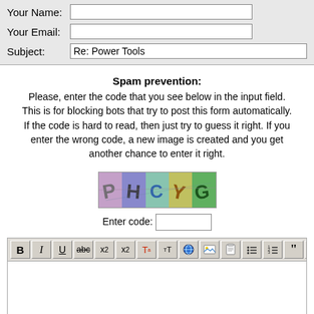Your Name:
Your Email:
Subject: Re: Power Tools
Spam prevention:
Please, enter the code that you see below in the input field. This is for blocking bots that try to post this form automatically. If the code is hard to read, then just try to guess it right. If you enter the wrong code, a new image is created and you get another chance to enter it right.
[Figure (other): CAPTCHA image showing colored letters: P H C Y G on colored backgrounds]
Enter code:
[Figure (screenshot): Rich text editor toolbar with formatting buttons: Bold, Italic, Underline, Strikethrough, Subscript, Superscript, Font color, Font size, Link, Image, File, Unordered list, Ordered list, Blockquote, Align]